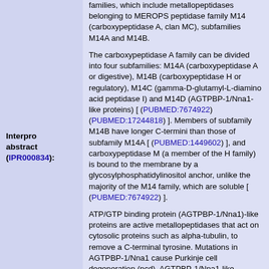families, which include metallopeptidases belonging to MEROPS peptidase family M14 (carboxypeptidase A, clan MC), subfamilies M14A and M14B.
The carboxypeptidase A family can be divided into four subfamilies: M14A (carboxypeptidase A or digestive), M14B (carboxypeptidase H or regulatory), M14C (gamma-D-glutamyl-L-diamino acid peptidase I) and M14D (AGTPBP-1/Nna1-like proteins) [ (PUBMED:7674922) (PUBMED:17244818) ]. Members of subfamily M14B have longer C-termini than those of subfamily M14A [ (PUBMED:1449602) ], and carboxypeptidase M (a member of the H family) is bound to the membrane by a glycosylphosphatidylinositol anchor, unlike the majority of the M14 family, which are soluble [ (PUBMED:7674922) ].
ATP/GTP binding protein (AGTPBP-1/Nna1)-like proteins are active metallopeptidases that act on cytosolic proteins such as alpha-tubulin, to remove a C-terminal tyrosine. Mutations in AGTPBP-1/Nna1 cause Purkinje cell degeneration (pcd). AGTPBP-1/Nna1-like proteins from the different phyla are highly diverse, but they all contain a unique N-terminal conserved domain right before the CP domain. It has been suggested that this N-terminal domain might act as a folding domain [ (PUBMED:17244817) (PUBMED:11083920) (PUBMED:16952463) (PUBMED:18602413) ].
The zinc ligands have been determined as two histidines and a glutamate, and the catalytic residue has been identified as a C-terminal glutamate, but these do not form the characteristic metalloprotease HEXXH motif [ (PUBMED:7674922) (PUBMED:6007346) ]. Members of
Interpro abstract (IPR000834):